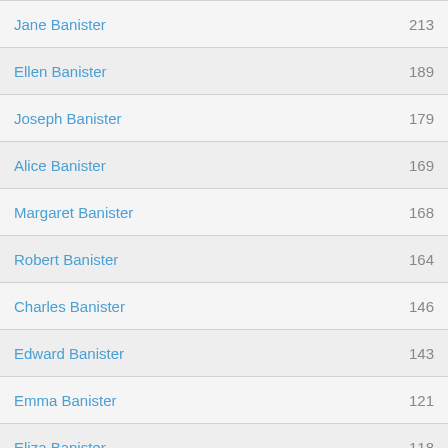Jane Banister — 213
Ellen Banister — 189
Joseph Banister — 179
Alice Banister — 169
Margaret Banister — 168
Robert Banister — 164
Charles Banister — 146
Edward Banister — 143
Emma Banister — 121
Eliza Banister — 118
Richard Banister — 102
Hannah Banister — 94
Alfred Banister — 85